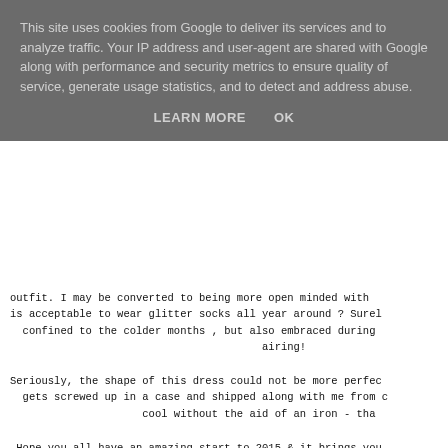This site uses cookies from Google to deliver its services and to analyze traffic. Your IP address and user-agent are shared with Google along with performance and security metrics to ensure quality of service, generate usage statistics, and to detect and address abuse.
LEARN MORE   OK
outfit. I may be converted to being more open minded with is acceptable to wear glitter socks all year around ? Surel confined to the colder months , but also embraced during airing!
Seriously, the shape of this dress could not be more perfec gets screwed up in a case and shipped along with me from c cool without the aid of an iron - tha
Hope you all have an amazing start to 2015 & it brings you want to start some new projects and start branching out ne we tackle them together. I am also going to give myself a up and give me a wave so that I can find
Happy New-Friggin-Yea